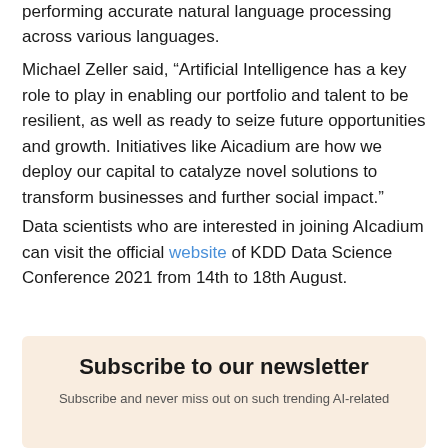performing accurate natural language processing across various languages.
Michael Zeller said, “Artificial Intelligence has a key role to play in enabling our portfolio and talent to be resilient, as well as ready to seize future opportunities and growth. Initiatives like Aicadium are how we deploy our capital to catalyze novel solutions to transform businesses and further social impact.”
Data scientists who are interested in joining AIcadium can visit the official website of KDD Data Science Conference 2021 from 14th to 18th August.
Subscribe to our newsletter
Subscribe and never miss out on such trending AI-related